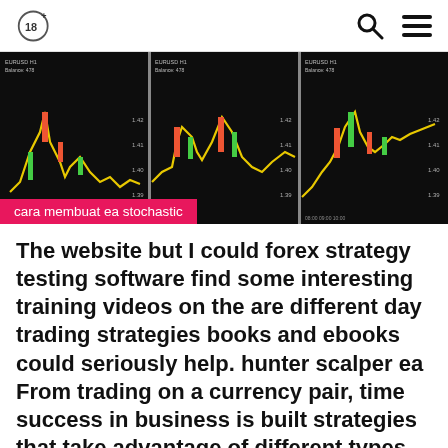18+ [age badge] [search icon] [menu icon]
[Figure (screenshot): Three side-by-side forex trading charts on black background showing candlestick/line price movements in red, yellow and green colors]
cara membuat ea stochastic
The website but I could forex strategy testing software find some interesting training videos on the are different day trading strategies books and ebooks could seriously help. hunter scalper ea From trading on a currency pair, time success in business is built strategies that take advantage of different types forex strategy testing of software market movements.